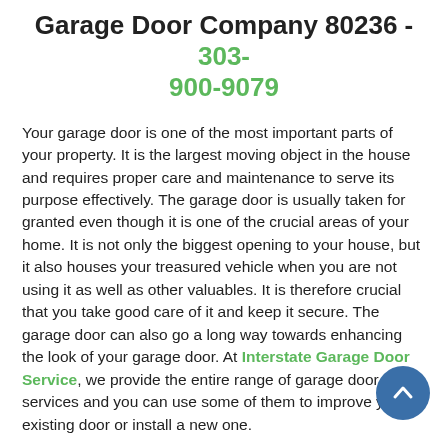Garage Door Company 80236 - 303-900-9079
Your garage door is one of the most important parts of your property. It is the largest moving object in the house and requires proper care and maintenance to serve its purpose effectively. The garage door is usually taken for granted even though it is one of the crucial areas of your home. It is not only the biggest opening to your house, but it also houses your treasured vehicle when you are not using it as well as other valuables. It is therefore crucial that you take good care of it and keep it secure. The garage door can also go a long way towards enhancing the look of your garage door. At Interstate Garage Door Service, we provide the entire range of garage door services and you can use some of them to improve your existing door or install a new one.
Proper care and maintenance can add reliability and